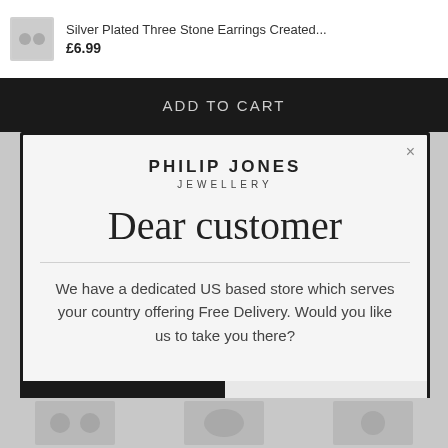Silver Plated Three Stone Earrings Created... £6.99
ADD TO CART
PHILIP JONES JEWELLERY
Dear customer
We have a dedicated US based store which serves your country offering Free Delivery. Would you like us to take you there?
Yes
No